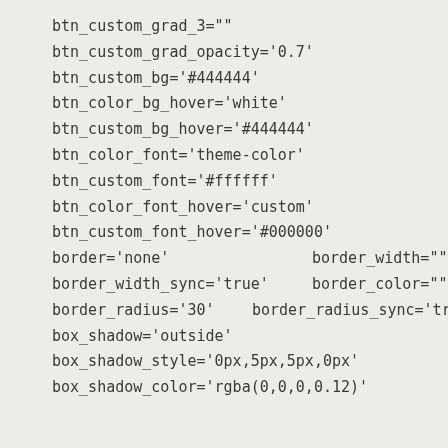btn_custom_grad_3=""
btn_custom_grad_opacity='0.7'
btn_custom_bg='#444444'
btn_color_bg_hover='white'
btn_custom_bg_hover='#444444'
btn_color_font='theme-color'
btn_custom_font='#ffffff'
btn_color_font_hover='custom'
btn_custom_font_hover='#000000'
border='none'                    border_width=""
border_width_sync='true'         border_color=""
border_radius='30'    border_radius_sync='true'
box_shadow='outside'
box_shadow_style='0px,5px,5px,0px'
box_shadow_color='rgba(0,0,0,0.12)'